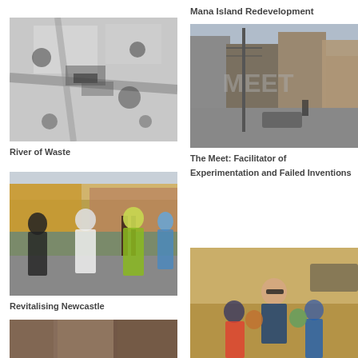Mana Island Redevelopment
[Figure (photo): Aerial architectural model or plan view of a development, black and white]
River of Waste
[Figure (photo): Street scene with buildings, utility poles, and mixed architecture, watermarked MEET]
The Meet: Facilitator of Experimentation and Failed Inventions
[Figure (photo): Group of people walking on a street, outdoor urban setting]
Revitalising Newcastle
[Figure (photo): Woman with sunglasses surrounded by children in outdoor setting]